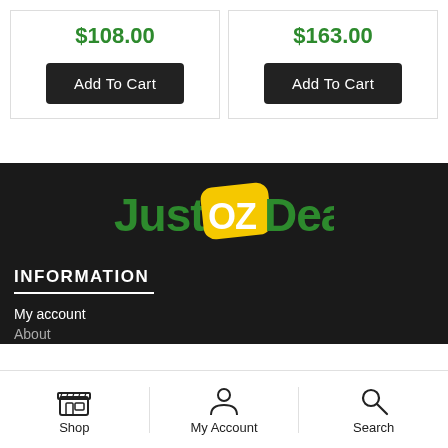$108.00
Add To Cart
$163.00
Add To Cart
[Figure (logo): JustOZDeals logo — green text 'Just' and 'Deals' with a yellow rounded rectangle badge containing white text 'OZ', on a dark background]
INFORMATION
My account
About
[Figure (infographic): Bottom navigation bar with three items: Shop (store icon), My Account (person icon), Search (magnifying glass icon)]